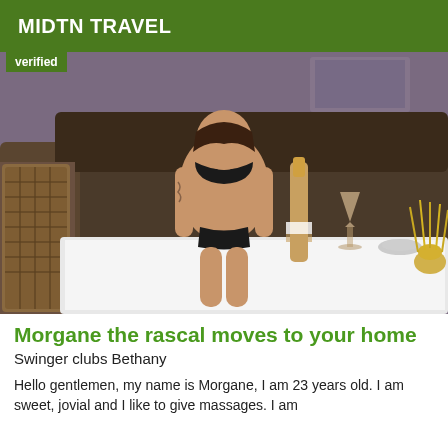MIDTN TRAVEL
[Figure (photo): Photo of a woman in black bikini sitting on a couch with a table in front holding a champagne bottle, glass, ashtray, and reed diffuser. A Louis Vuitton bag is visible on the left. A 'Verified' badge is shown in the top-left corner of the photo.]
Morgane the rascal moves to your home
Swinger clubs Bethany
Hello gentlemen, my name is Morgane, I am 23 years old. I am sweet, jovial and I like to give massages. I am